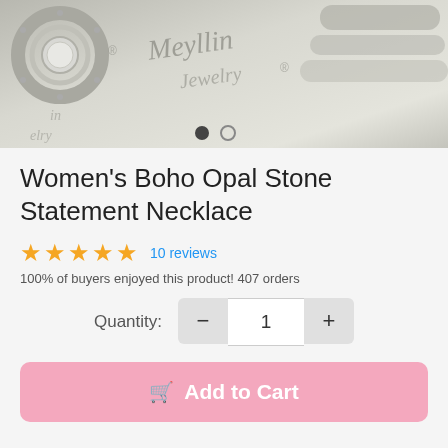[Figure (photo): Close-up photo of silver jewelry pieces (rings/necklaces) on a branded Meyllinn Jewelry paper background, with two navigation dots at the bottom indicating a slideshow]
Women's Boho Opal Stone Statement Necklace
10 reviews
100% of buyers enjoyed this product! 407 orders
Quantity: 1
Add to Cart